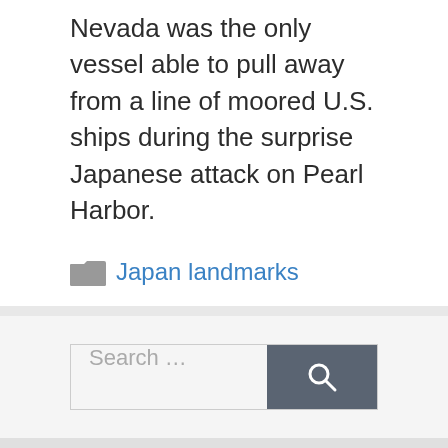Nevada was the only vessel able to pull away from a line of moored U.S. ships during the surprise Japanese attack on Pearl Harbor.
Japan landmarks
Search …
About the author